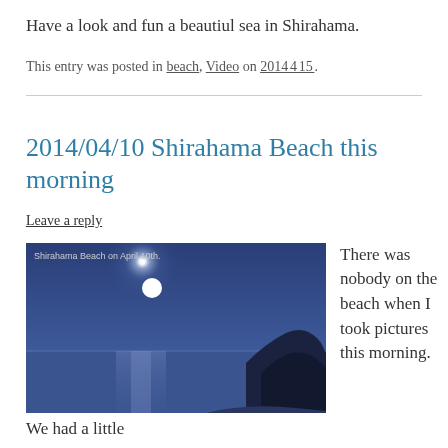Have a look and fun a beautiul sea in Shirahama.
This entry was posted in beach, Video on 2014_4_15_.
2014/04/10 Shirahama Beach this morning
Leave a reply
[Figure (photo): Photo of Shirahama Beach on April 10th, showing a bright moon/sun over calm blue ocean water with a dark silhouette of trees on the right. Caption: 'Shirahama Beach on April 10th.']
There was nobody on the beach when I took pictures this morning.